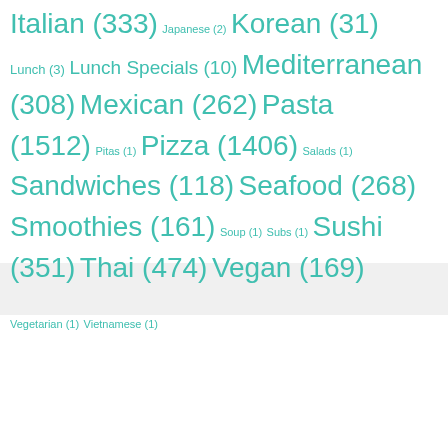Italian (333) Japanese (2) Korean (31) Lunch (3) Lunch Specials (10) Mediterranean (308) Mexican (262) Pasta (1512) Pitas (1) Pizza (1406) Salads (1) Sandwiches (118) Seafood (268) Smoothies (161) Soup (1) Subs (1) Sushi (351) Thai (474) Vegan (169) Vegetarian (1) Vietnamese (1)